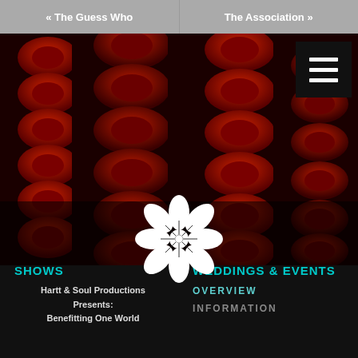« The Guess Who   The Association »
[Figure (photo): Rows of red theater/auditorium seats viewed from above at an angle, dark background]
[Figure (logo): White flower/blossom logo icon with petals and center detail]
SHOWS
Hartt & Soul Productions Presents:
Benefitting One World
WEDDINGS & EVENTS
OVERVIEW
INFORMATION